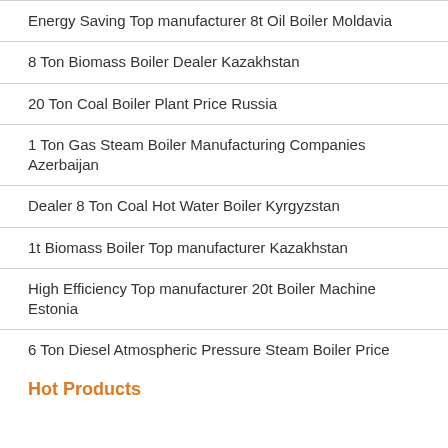Energy Saving Top manufacturer 8t Oil Boiler Moldavia
8 Ton Biomass Boiler Dealer Kazakhstan
20 Ton Coal Boiler Plant Price Russia
1 Ton Gas Steam Boiler Manufacturing Companies Azerbaijan
Dealer 8 Ton Coal Hot Water Boiler Kyrgyzstan
1t Biomass Boiler Top manufacturer Kazakhstan
High Efficiency Top manufacturer 20t Boiler Machine Estonia
6 Ton Diesel Atmospheric Pressure Steam Boiler Price
Hot Products